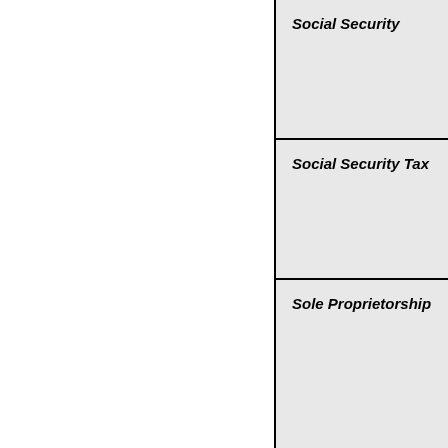| Social Security |
| Social Security Tax |
| Sole Proprietorship |
| Split-Dollar Life Insurance [Back to top] |
| Spousal IRA |
| Standard & Poor's 500 Index (S&P 500) |